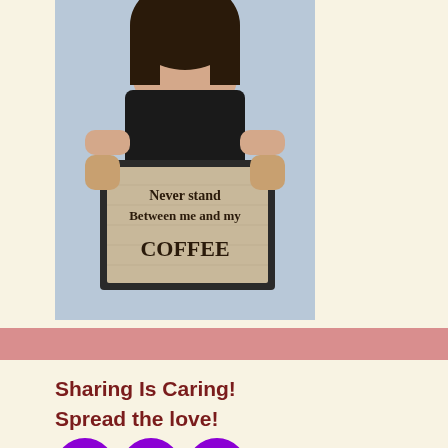[Figure (photo): A woman wearing a black tank top holding a framed sign that reads 'Never stand Between me and my COFFEE']
Sharing Is Caring!
Spread the love!
[Figure (infographic): Three purple circular social media icons: Pinterest (P), Facebook (f), and Twitter (bird)]
Thank You!